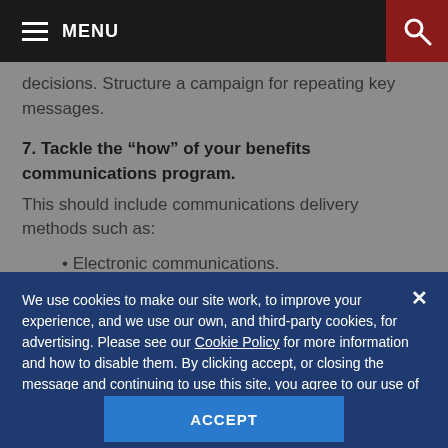MENU
decisions. Structure a campaign for repeating key messages.
7. Tackle the "how" of your benefits communications program.
This should include communications delivery methods such as:
Electronic communications.
We use cookies to make our site work, to improve your experience, and we use our own, and third-party cookies, for advertising. Please see our Cookie Policy for more information and how to disable them. By clicking accept, or closing the message and continuing to use this site, you agree to our use of cookies.
ACCEPT